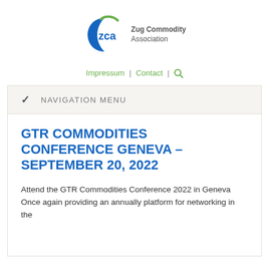[Figure (logo): ZCA Zug Commodity Association logo: blue crescent shape with green arc on top, letters 'zca' in blue, text 'Zug Commodity Association' in grey to the right]
Impressum | Contact | 🔍
✓  NAVIGATION MENU
GTR COMMODITIES CONFERENCE GENEVA – SEPTEMBER 20, 2022
Attend the GTR Commodities Conference 2022 in Geneva Once again providing an annually platform for networking in the...